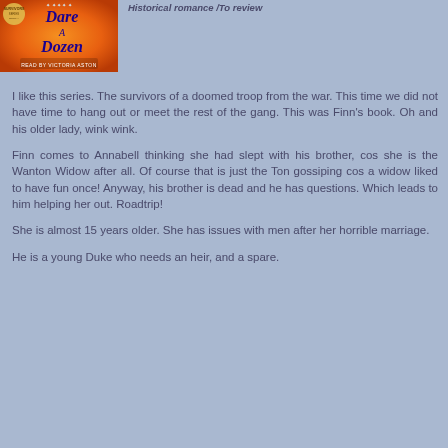[Figure (illustration): Book cover for 'Dare a Dozen' audiobook, orange background with blue stylized text, read by Victoria Aston, with a Survivors series badge]
Historical romance /To review
I like this series. The survivors of a doomed troop from the war. This time we did not have time to hang out or meet the rest of the gang. This was Finn's book. Oh and his older lady, wink wink.
Finn comes to Annabell thinking she had slept with his brother, cos she is the Wanton Widow after all. Of course that is just the Ton gossiping cos a widow liked to have fun once! Anyway, his brother is dead and he has questions. Which leads to him helping her out. Roadtrip!
She is almost 15 years older. She has issues with men after her horrible marriage.
He is a young Duke who needs an heir, and a spare.